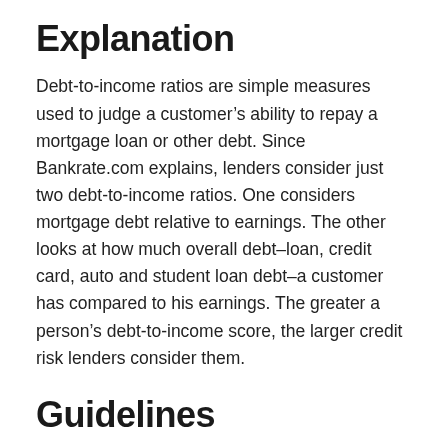Explanation
Debt-to-income ratios are simple measures used to judge a customer’s ability to repay a mortgage loan or other debt. Since Bankrate.com explains, lenders consider just two debt-to-income ratios. One considers mortgage debt relative to earnings. The other looks at how much overall debt–loan, credit card, auto and student loan debt–a customer has compared to his earnings. The greater a person’s debt-to-income score, the larger credit risk lenders consider them.
Guidelines
FHA debt-to-income ratios are somewhat more generous than the ones set by underwriters for